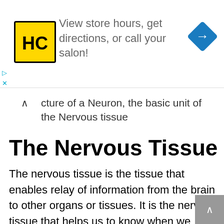[Figure (advertisement): Hair Club salon advertisement banner with HC logo, text 'View store hours, get directions, or call your salon!' and a navigation/direction diamond icon]
cture of a Neuron, the basic unit of the Nervous tissue
The Nervous Tissue
The nervous tissue is the tissue that enables relay of information from the brain to other organs or tissues. It is the nervous tissue that helps us to know when we touch something hot, cold or warm. It helps us perceive and communicate with the environment and also has protective function as it can help you to remove your